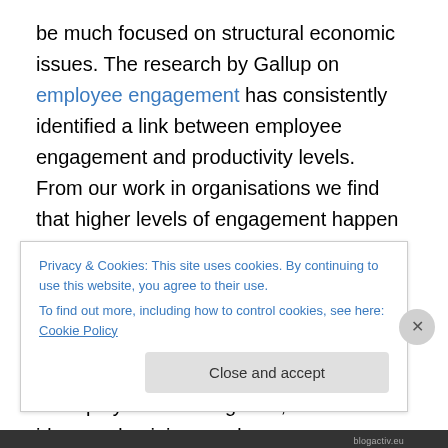be much focused on structural economic issues. The research by Gallup on employee engagement has consistently identified a link between employee engagement and productivity levels.  From our work in organisations we find that higher levels of engagement happen when employees are asked for their opinions and are consulted on decisions. Running focus groups and large scale events such as Café Exchanges can really help to provide a forum for all levels of employees to sit together, to share ideas and opinions and as a consequence to feel valued by the business.
Privacy & Cookies: This site uses cookies. By continuing to use this website, you agree to their use. To find out more, including how to control cookies, see here: Cookie Policy